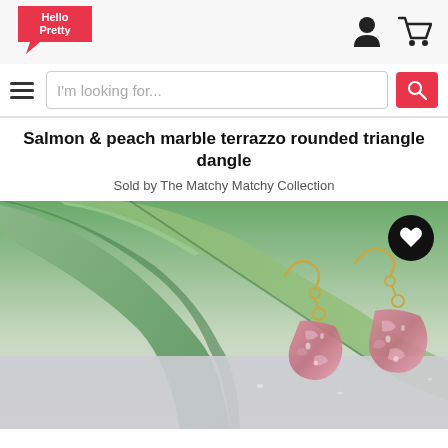[Figure (logo): Hello Pretty logo — red speech bubble shape with white text 'Hello Pretty']
[Figure (illustration): User account icon (person silhouette) and shopping cart icon in top right header]
[Figure (screenshot): Search bar with hamburger menu, placeholder text 'I'm looking for...', and red search button with magnifier icon]
Salmon & peach marble terrazzo rounded triangle dangle
Sold by The Matchy Matchy Collection
[Figure (photo): Product photo of two salmon/pink marble terrazzo rounded triangle dangle earrings with gold fish-hook wires, placed against a background of green aloe vera leaves and a light grey surface with water droplets visible. A black circular heart/favorite button is in the upper right of the image.]